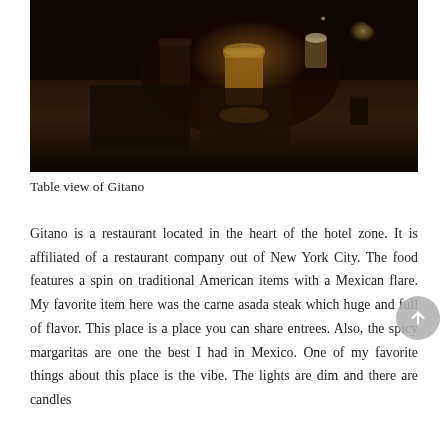[Figure (photo): Dimly lit restaurant table at Gitano showing drinks including a golden cocktail and candles, with menus and dark wooden surface visible]
Table view of Gitano
Gitano is a restaurant located in the heart of the hotel zone. It is affiliated of a restaurant company out of New York City. The food features a spin on traditional American items with a Mexican flare. My favorite item here was the carne asada steak which huge and full of flavor. This place is a place you can share entrees. Also, the spicy margaritas are one the best I had in Mexico. One of my favorite things about this place is the vibe. The lights are dim and there are candles